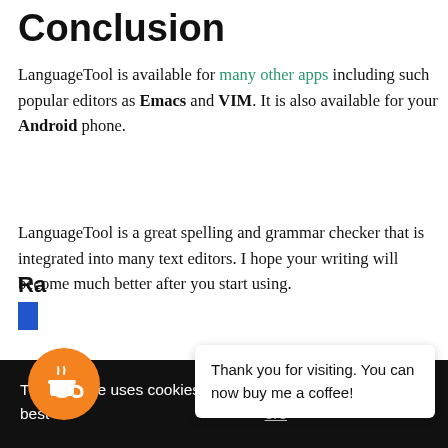Conclusion
LanguageTool is available for many other apps including such popular editors as Emacs and VIM. It is also available for your Android phone.
LanguageTool is a great spelling and grammar checker that is integrated into many text editors. I hope your writing will become much better after you start using.
Ra
[Figure (other): Dark cookie consent banner overlay with text: 'This website uses cookies to ensure you get the best [more]' and a white inner popup saying 'Thank you for visiting. You can now buy me a coffee!' with an orange coffee cup button at bottom-left.]